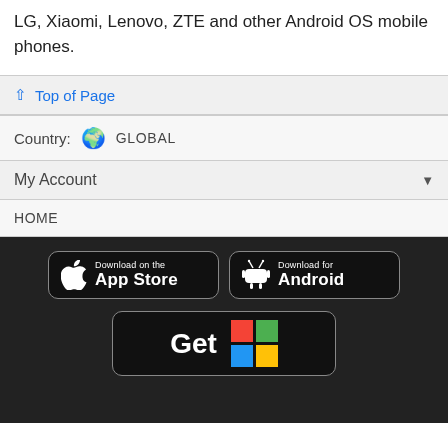LG, Xiaomi, Lenovo, ZTE and other Android OS mobile phones.
↑ Top of Page
Country: 🌍 GLOBAL
My Account ▼
HOME
[Figure (screenshot): App store download buttons: Download on the App Store, Download for Android, Get (Windows/Microsoft Store)]